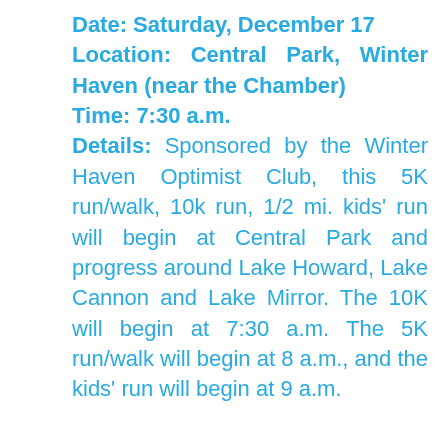Date: Saturday, December 17
Location: Central Park, Winter Haven (near the Chamber)
Time: 7:30 a.m.
Details: Sponsored by the Winter Haven Optimist Club, this 5K run/walk, 10k run, 1/2 mi. kids' run will begin at Central Park and progress around Lake Howard, Lake Cannon and Lake Mirror. The 10K will begin at 7:30 a.m. The 5K run/walk will begin at 8 a.m., and the kids' run will begin at 9 a.m.